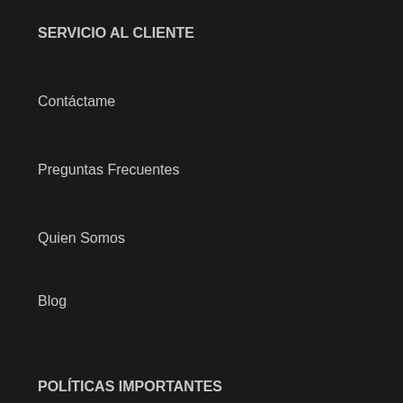SERVICIO AL CLIENTE
Contáctame
Preguntas Frecuentes
Quien Somos
Blog
POLÍTICAS IMPORTANTES
Reembolsos y Devoluciones
Información sobre Envíos